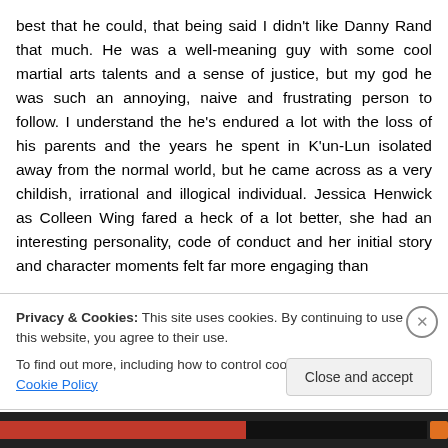best that he could, that being said I didn't like Danny Rand that much. He was a well-meaning guy with some cool martial arts talents and a sense of justice, but my god he was such an annoying, naive and frustrating person to follow. I understand the he's endured a lot with the loss of his parents and the years he spent in K'un-Lun isolated away from the normal world, but he came across as a very childish, irrational and illogical individual. Jessica Henwick as Colleen Wing fared a heck of a lot better, she had an interesting personality, code of conduct and her initial story and character moments felt far more engaging than
Privacy & Cookies: This site uses cookies. By continuing to use this website, you agree to their use.
To find out more, including how to control cookies, see here: Cookie Policy
Close and accept